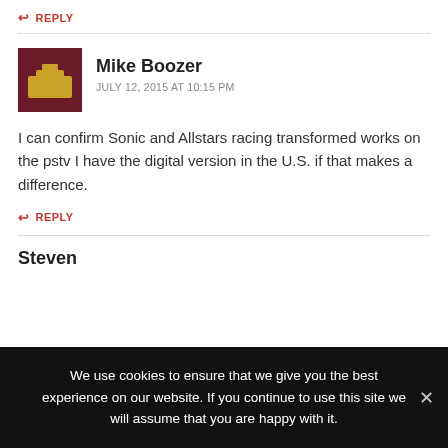↩ REPLY
Mike Boozer
JULY 12, 2015 AT 10:15 PM
I can confirm Sonic and Allstars racing transformed works on the pstv I have the digital version in the U.S. if that makes a difference.
↩ REPLY
Steven
We use cookies to ensure that we give you the best experience on our website. If you continue to use this site we will assume that you are happy with it.